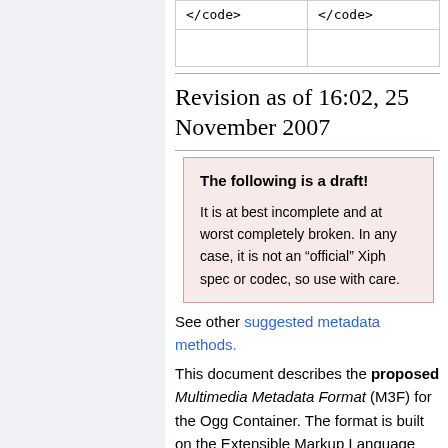| </code> | </code> |
|  |  |
Revision as of 16:02, 25 November 2007
The following is a draft!

It is at best incomplete and at worst completely broken. In any case, it is not an "official" Xiph spec or codec, so use with care.
See other suggested metadata methods.
This document describes the proposed Multimedia Metadata Format (M3F) for the Ogg Container. The format is built on the Extensible Markup Language (XML). It is intended to describe any kind of